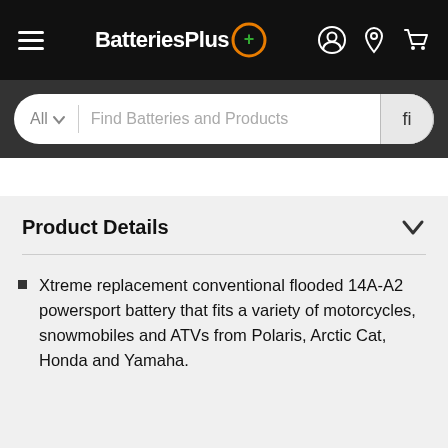BatteriesPlus — navigation bar with hamburger menu, logo, and icons
[Figure (screenshot): BatteriesPlus website search bar with 'All' dropdown and 'Find Batteries and Products' placeholder text]
Product Details
Xtreme replacement conventional flooded 14A-A2 powersport battery that fits a variety of motorcycles, snowmobiles and ATVs from Polaris, Arctic Cat, Honda and Yamaha.